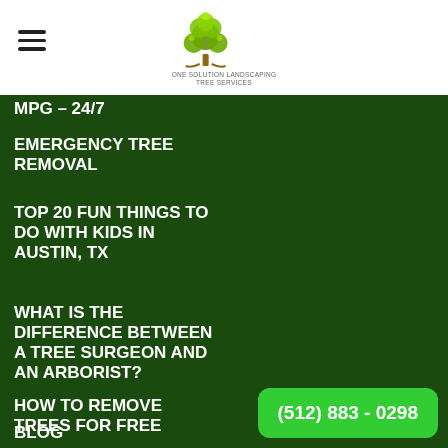[Figure (logo): Tree service company logo with tree illustration and company name text]
MPG – 24/7
EMERGENCY TREE REMOVAL
TOP 20 FUN THINGS TO DO WITH KIDS IN AUSTIN, TX
WHAT IS THE DIFFERENCE BETWEEN A TREE SURGEON AND AN ARBORIST?
BLOG
PRIVACY
HOW TO REMOVE TREES FOR FREE
(512) 883 - 0298